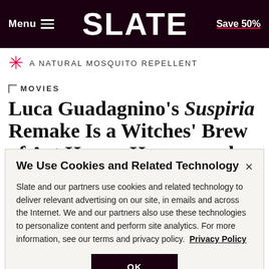Menu  SLATE  Save 50%
A NATURAL MOSQUITO REPELLENT
MOVIES
Luca Guadagnino's Suspiria Remake Is a Witches' Brew of Art House, Horror, and Kink
We Use Cookies and Related Technology
Slate and our partners use cookies and related technology to deliver relevant advertising on our site, in emails and across the Internet. We and our partners also use these technologies to personalize content and perform site analytics. For more information, see our terms and privacy policy.  Privacy Policy
OK